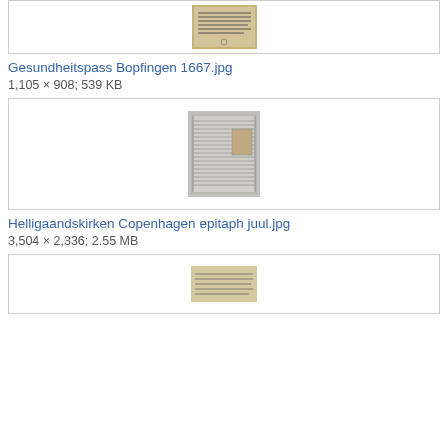[Figure (photo): Historical document image - Gesundheitspass Bopfingen 1667, partial view at top]
Gesundheitspass Bopfingen 1667.jpg
1,105 × 908; 539 KB
[Figure (photo): Historical document image - Helligaandskirken Copenhagen epitaph juul, showing a dense text/epitaph panel]
Helligaandskirken Copenhagen epitaph juul.jpg
3,504 × 2,336; 2.55 MB
[Figure (photo): Historical handwritten document, partial view at bottom of page]